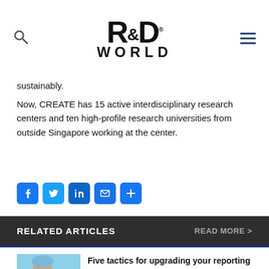R&D WORLD
sustainably.
Now, CREATE has 15 active interdisciplinary research centers and ten high-profile research universities from outside Singapore working at the center.
[Figure (other): Social share buttons: Facebook, Twitter, LinkedIn, Email, Share]
RELATED ARTICLES   READ MORE >
[Figure (photo): Person in blue scrubs and face mask writing on a document or clipboard]
Five tactics for upgrading your reporting process